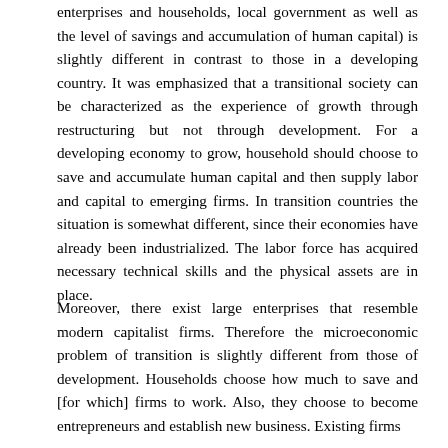enterprises and households, local government as well as the level of savings and accumulation of human capital) is slightly different in contrast to those in a developing country. It was emphasized that a transitional society can be characterized as the experience of growth through restructuring but not through development. For a developing economy to grow, household should choose to save and accumulate human capital and then supply labor and capital to emerging firms. In transition countries the situation is somewhat different, since their economies have already been industrialized. The labor force has acquired necessary technical skills and the physical assets are in place.
Moreover, there exist large enterprises that resemble modern capitalist firms. Therefore the microeconomic problem of transition is slightly different from those of development. Households choose how much to save and [for which] firms to work. Also, they choose to become entrepreneurs and establish new business. Existing firms